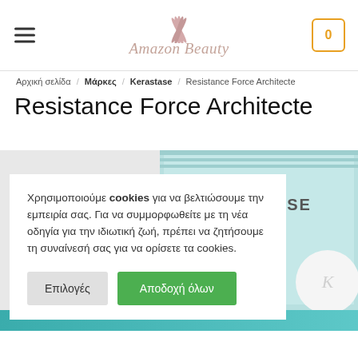Amazon Beauty — navigation header with hamburger menu and cart icon showing 0
Αρχική σελίδα / Μάρκες / Kerastase / Resistance Force Architecte
Resistance Force Architecte
[Figure (photo): Kerastase Resistance Force Architecte product boxes in teal/white packaging on a light gray background]
Χρησιμοποιούμε cookies για να βελτιώσουμε την εμπειρία σας. Για να συμμορφωθείτε με τη νέα οδηγία για την ιδιωτική ζωή, πρέπει να ζητήσουμε τη συναίνεσή σας για να ορίσετε τα cookies.
Επιλογές | Αποδοχή όλων